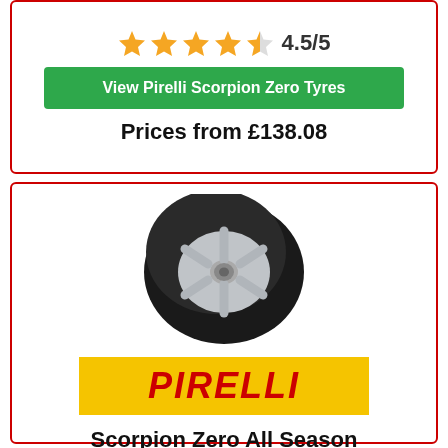[Figure (other): Star rating: 4 full orange stars and 1 half star, rating 4.5/5]
View Pirelli Scorpion Zero Tyres
Prices from £138.08
[Figure (photo): Pirelli Scorpion Zero All Season tyre shown at angle on silver alloy wheel]
[Figure (logo): Pirelli logo: yellow background with red italic PIRELLI text]
Scorpion Zero All Season